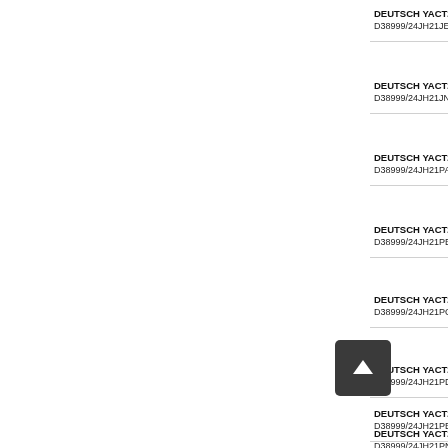DEUTSCH YACT24JH21JEV
D38999/24JH21JE Standard
DEUTSCH YACT24JH21JNV
D38999/24JH21JN Standard
DEUTSCH YACT24JH21PAV
D38999/24JH21PA Standard
DEUTSCH YACT24JH21PBV
D38999/24JH21PB Standard
DEUTSCH YACT24JH21PCV
D38999/24JH21PC Standard
DEUTSCH YACT24JH21PDV
D38999/24JH21PD Standard
DEUTSCH YACT24JH21PEV
D38999/24JH21PE Standard
DEUTSCH YACT24JH21PNV
D38999/24JH21PN Standard